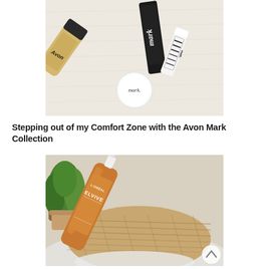[Figure (photo): Flatlay photo of Avon Mark cosmetics products including a foundation tube, mascara/eyeliner in black packaging, a lip product, and a small round compact with 'mark.' branding, laid on a cream/white fabric background.]
Stepping out of my Comfort Zone with the Avon Mark Collection
[Figure (photo): Photo of a L'Oreal Elvive hair product bottle (gold/brown) lying on a woven rattan mat next to a small potted green plant, with a light blue/white surface visible.]